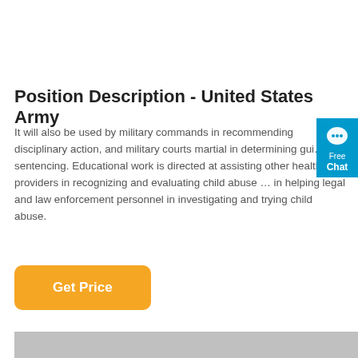Position Description - United States Army
It will also be used by military commands in recommending disciplinary action, and military courts martial in determining guilt and sentencing. Educational work is directed at assisting other health care providers in recognizing and evaluating child abuse and in helping legal and law enforcement personnel in investigating and trying child abuse.
[Figure (other): Orange 'Get Price' button]
[Figure (other): Gray image/content placeholder block at the bottom of the page]
[Figure (other): Blue 'Free Chat' widget on the right side with chat bubble icon]